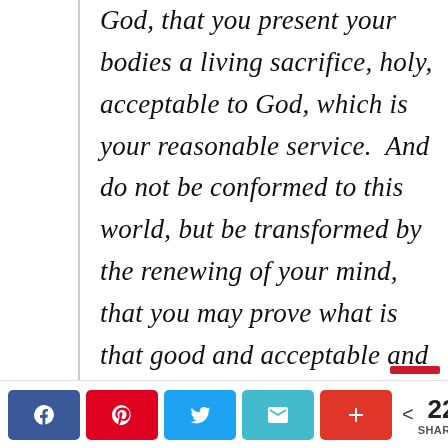God, that you present your bodies a living sacrifice, holy, acceptable to God, which is your reasonable service.  And do not be conformed to this world, but be transformed by the renewing of your mind, that you may prove what is that good and acceptable and perfect will of God. Romans 12:1-2
< 22 SHARES [Facebook] [Pinterest] [Twitter] [Email] [More]